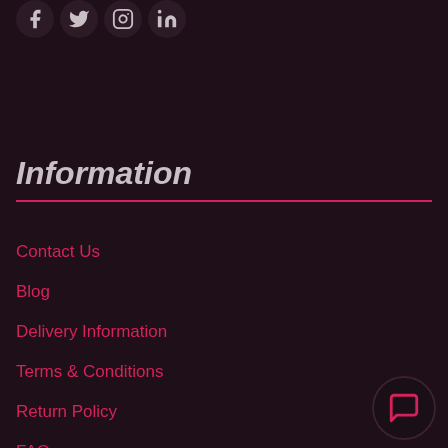[Figure (illustration): Four social media icons (Facebook, Twitter, Instagram, LinkedIn) displayed as dark circular buttons in a row at the top of the page]
Information
Contact Us
Blog
Delivery Information
Terms & Conditions
Return Policy
FAQ
My account
[Figure (illustration): Chat bubble / live chat support icon in bottom right corner]